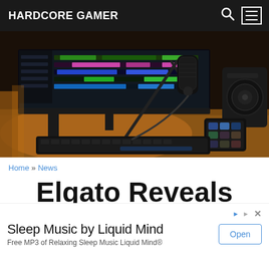HARDCORE GAMER
[Figure (photo): A streaming/recording desk setup with a large monitor showing a DAW (digital audio workstation) timeline, a professional USB microphone on a boom arm, a Stream Deck controller, a speaker, and a keyboard, all on a wooden desk with warm backlighting.]
Home » News
Elgato Reveals New Stream Deck, Camera, Mixer, More
Sleep Music by Liquid Mind
Free MP3 of Relaxing Sleep Music Liquid Mind®
Open